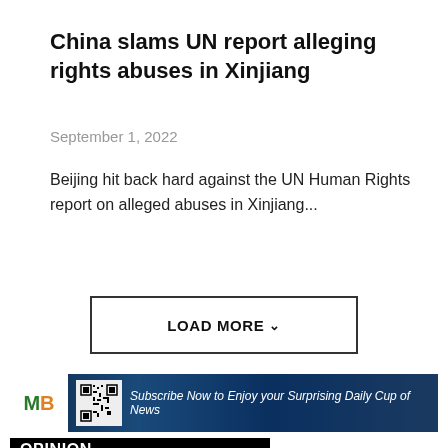China slams UN report alleging rights abuses in Xinjiang
September 1, 2022
Beijing hit back hard against the UN Human Rights report on alleged abuses in Xinjiang...
LOAD MORE
[Figure (other): Advertisement banner with MB logo, QR code, and text: Subscribe Now to Enjoy your Surprising Daily Cup of News]
OPINION